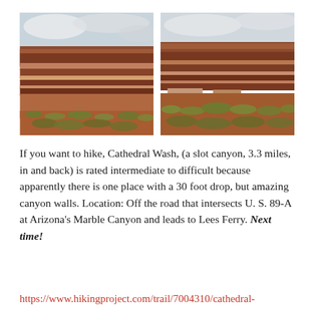[Figure (photo): Two side-by-side landscape photographs of a red rock canyon area (likely Marble Canyon / Lees Ferry area in Arizona), showing layered sandstone mesas and desert scrubland in the foreground under an overcast sky.]
If you want to hike, Cathedral Wash, (a slot canyon, 3.3 miles, in and back) is rated intermediate to difficult because apparently there is one place with a 30 foot drop, but amazing canyon walls. Location: Off the road that intersects U. S. 89-A at Arizona's Marble Canyon and leads to Lees Ferry. Next time!
https://www.hikingproject.com/trail/7004310/cathedral-